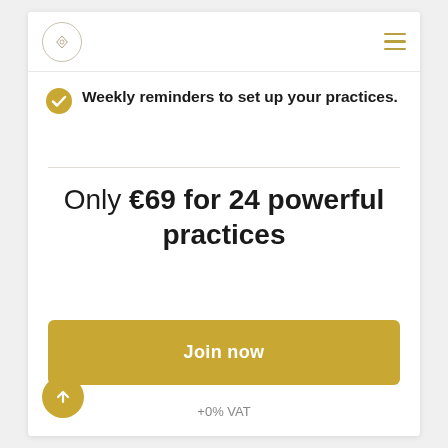navigation bar with logo and menu
Weekly reminders to set up your practices.
Only €69 for 24 powerful practices
Join now
+0% VAT